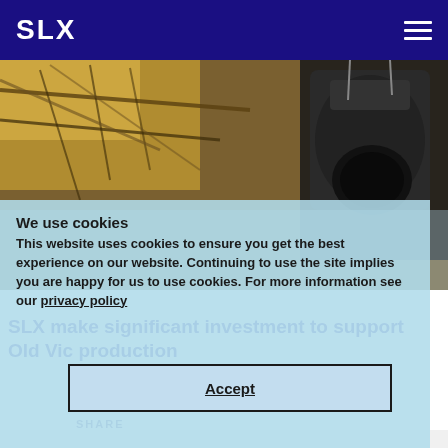SLX
[Figure (photo): Stage lighting equipment — rigging with spotlights and cables overhead in a theatre or studio setting]
We use cookies
This website uses cookies to ensure you get the best experience on our website. Continuing to use the site implies you are happy for us to use cookies. For more information see our privacy policy
Accept
SLX make significant investment to support Old Vic production
SHARE